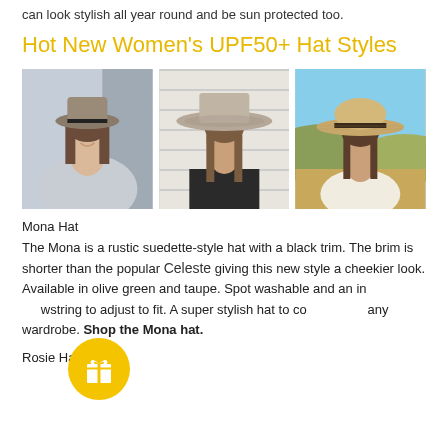can look stylish all year round and be sun protected too.
Hot New Women's UPF50+ Hat Styles
[Figure (photo): Three women wearing hats: left woman in grey sweater wearing a suedette-style fedora hat with black trim, center woman in black top wearing a wide-brim taupe hat, right woman outdoors wearing a straw floppy hat]
Mona Hat
The Mona is a rustic suedette-style hat with a black trim. The brim is shorter than the popular Celeste giving this new style a cheekier look. Available in olive green and taupe. Spot washable and an internal drawstring to adjust to fit. A super stylish hat to complement any wardrobe. Shop the Mona hat.
Rosie Hat